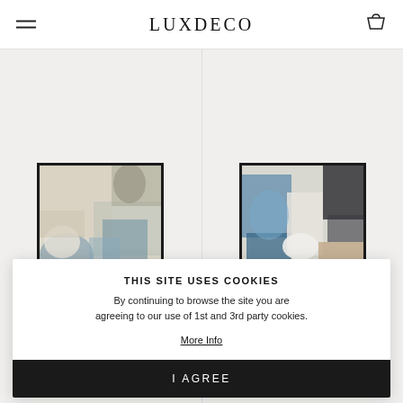LUXDECO
[Figure (photo): Abstract painting with blue, beige and grey tones in a black frame, displayed on light grey background]
[Figure (photo): Abstract painting with blue, white, dark navy and tan tones in a black frame, displayed on light grey background]
THIS SITE USES COOKIES
By continuing to browse the site you are agreeing to our use of 1st and 3rd party cookies.
More Info
I AGREE